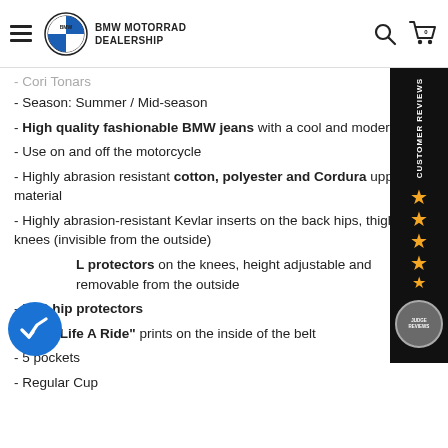BMW MOTORRAD DEALERSHIP
- Season: Summer / Mid-season
- High quality fashionable BMW jeans with a cool and modern look
- Use on and off the motorcycle
- Highly abrasion resistant cotton, polyester and Cordura upper material
- Highly abrasion-resistant Kevlar inserts on the back hips, thighs and knees (invisible from the outside)
- L protectors on the knees, height adjustable and removable from the outside
- NP2 hip protectors
- Make Life A Ride" prints on the inside of the belt
- 5 pockets
- Regular Cup
[Figure (infographic): Customer Reviews sidebar with 4.5 stars rating and badge]